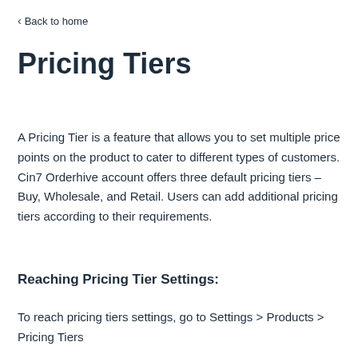< Back to home
Pricing Tiers
A Pricing Tier is a feature that allows you to set multiple price points on the product to cater to different types of customers. Cin7 Orderhive account offers three default pricing tiers – Buy, Wholesale, and Retail. Users can add additional pricing tiers according to their requirements.
Reaching Pricing Tier Settings:
To reach pricing tiers settings, go to Settings > Products > Pricing Tiers